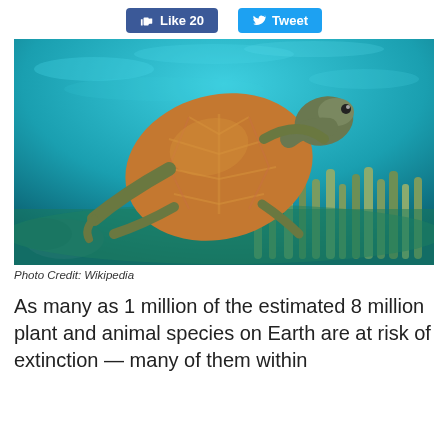[Figure (other): Social media buttons: Facebook Like 20 and Twitter Tweet]
[Figure (photo): Underwater photo of a sea turtle swimming over coral reef. The turtle has a brown-orange shell and is photographed against turquoise water with coral formations below.]
Photo Credit: Wikipedia
As many as 1 million of the estimated 8 million plant and animal species on Earth are at risk of extinction — many of them within